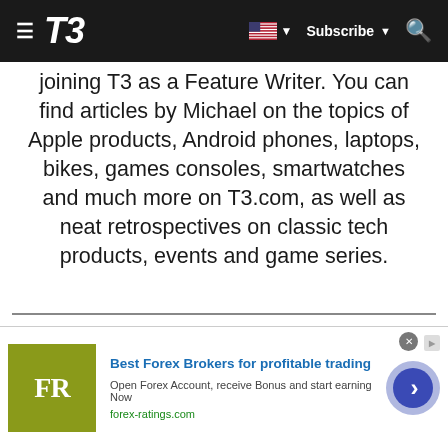T3 — Subscribe
joining T3 as a Feature Writer. You can find articles by Michael on the topics of Apple products, Android phones, laptops, bikes, games consoles, smartwatches and much more on T3.com, as well as neat retrospectives on classic tech products, events and game series.
[Figure (screenshot): Taboola Feed section with partial article image]
[Figure (infographic): Advertisement banner: Best Forex Brokers for profitable trading by forex-ratings.com with FR logo and arrow button]